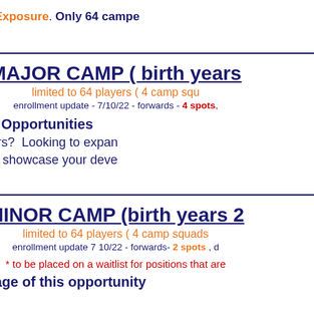Exceptional Exposure. Only 64 campers...
MAJOR CAMP ( birth years ...
limited to 64 players ( 4 camp squ...
enrollment update - 7/10/22 - forwards - 4 spots,...
Solidify your Opportunities
On some Radars?  Looking to expand...
CONNECT and showcase your deve...
MINOR CAMP (birth years 2...
limited to 64 players ( 4 camp squads...
enrollment update 7 10/22 - forwards- 2 spots , d...
* to be placed on a waitlist for positions that are...
Take Advantage of this opportunity...